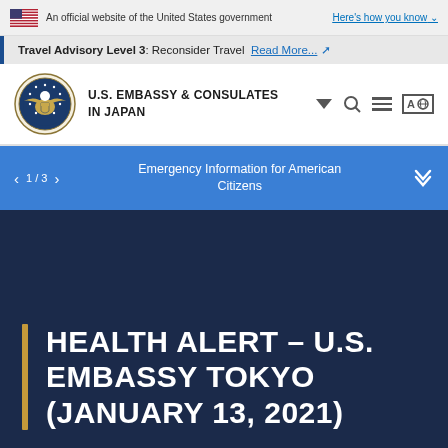An official website of the United States government Here's how you know
Travel Advisory Level 3: Reconsider Travel Read More...
U.S. EMBASSY & CONSULATES IN JAPAN
1 / 3  Emergency Information for American Citizens
HEALTH ALERT – U.S. EMBASSY TOKYO (JANUARY 13, 2021)